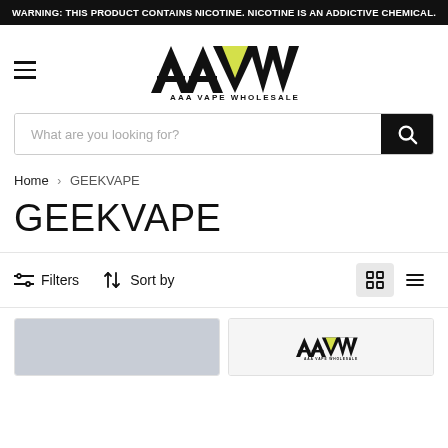WARNING: THIS PRODUCT CONTAINS NICOTINE. NICOTINE IS AN ADDICTIVE CHEMICAL.
[Figure (logo): AAA Vape Wholesale logo with stylized triangular letterforms in black and yellow-green]
What are you looking for?
Home > GEEKVAPE
GEEKVAPE
Filters   Sort by